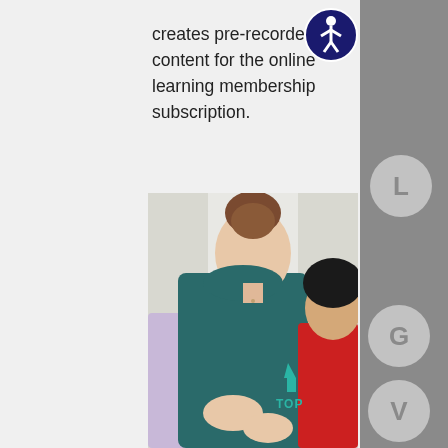creates pre-recorded content for the online learning membership subscription.
[Figure (photo): Two women, one in a teal long-sleeve top with hair in a bun, and another in a red top with dark hair, looking down together at something they are working on with their hands. A third person in lavender is partially visible on the left.]